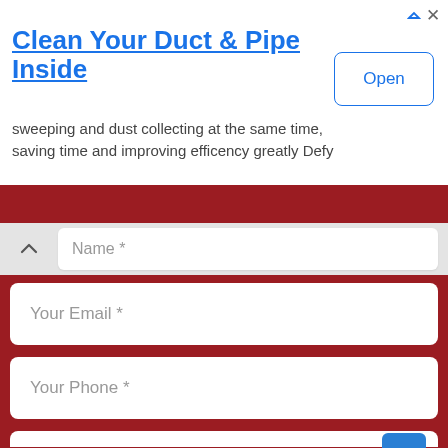[Figure (screenshot): Advertisement banner for 'Clean Your Duct & Pipe Inside' with an Open button]
Clean Your Duct & Pipe Inside
sweeping and dust collecting at the same time, saving time and improving efficency greatly Defy
Name *
Your Email *
Your Phone *
Your Message *